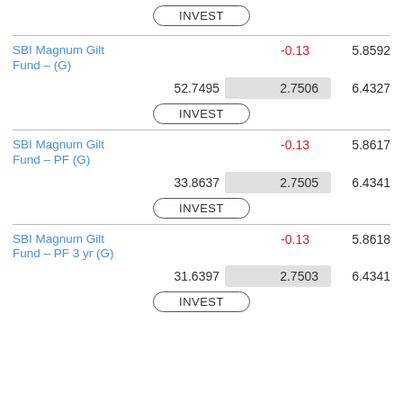INVEST
SBI Magnum Gilt Fund – (G)  -0.13  5.8592
52.7495  2.7506  6.4327
INVEST
SBI Magnum Gilt Fund – PF (G)  -0.13  5.8617
33.8637  2.7505  6.4341
INVEST
SBI Magnum Gilt Fund – PF 3 yr (G)  -0.13  5.8618
31.6397  2.7503  6.4341
INVEST